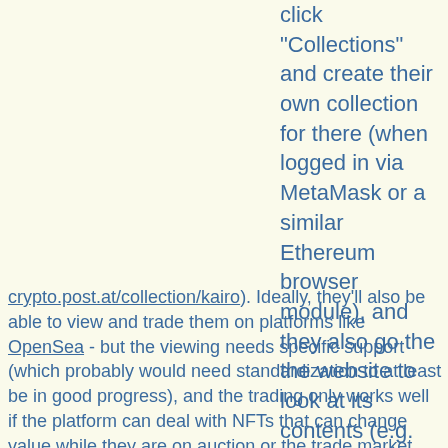click "Collections" and create their own collection for there (when logged in via MetaMask or a similar Ethereum browser module), and they also go the the website to look at its contents (e.g.
crypto.post.at/collection/kairo). Ideally, they'll also be able to view and trade them on platforms like OpenSea - but the viewing needs specific support (which probably would need standardization to at least be in good progress), and the trading only works well if the platform can deal with NFTs that can change value while they are on auction or the trade market (and then any bids made before need to be invalidated or re-confirmed in some fashion). Because the latter needs a way to detect those value changes and OpenSea doesn't have that, they had to suspend trade for